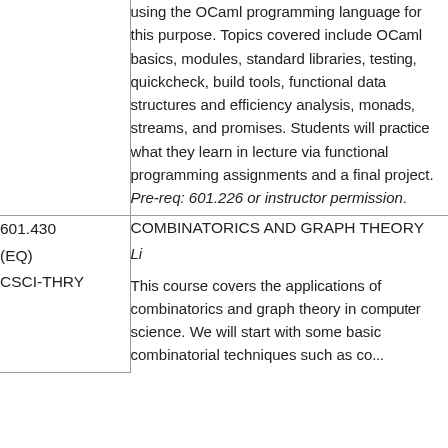using the OCaml programming language for this purpose. Topics covered include OCaml basics, modules, standard libraries, testing and quickcheck, build tools, functional data structures and efficiency analysis, monads, streams, and promises. Students will practice what they learn in lecture via functional programming assignments and a final project. Pre-req: 601.226 or instructor permission.
601.430
(EQ)
CSCI-THRY
COMBINATORICS AND GRAPH THEORY
Li
This course covers the applications of combinatorics and graph theory in computer science. We will start with some basic combinatorial techniques such as...